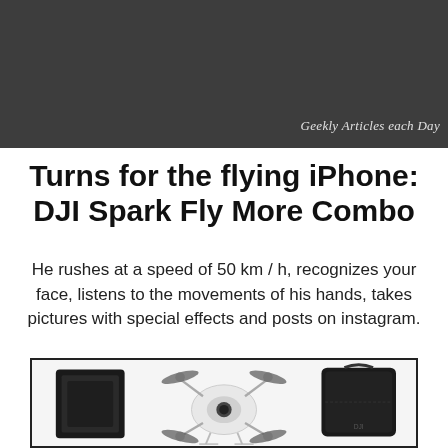Geekly Articles each Day
Turns for the flying iPhone: DJI Spark Fly More Combo
He rushes at a speed of 50 km / h, recognizes your face, listens to the movements of his hands, takes pictures with special effects and posts on instagram.
[Figure (photo): DJI Spark Fly More Combo product photo showing a white drone with propellers in the center, a black battery/accessory on the left, and a black carry case on the right, all on a light background]